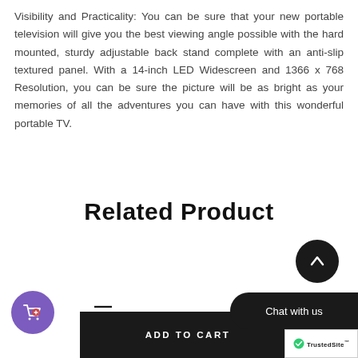Visibility and Practicality: You can be sure that your new portable television will give you the best viewing angle possible with the hard mounted, sturdy adjustable back stand complete with an anti-slip textured panel. With a 14-inch LED Widescreen and 1366 x 768 Resolution, you can be sure the picture will be as bright as your memories of all the adventures you can have with this wonderful portable TV.
Related Product
[Figure (screenshot): Dark circular scroll-to-top button with upward arrow icon]
[Figure (screenshot): Heart/wishlist icon outline]
[Figure (screenshot): Purple circular shopping cart with heart icon]
[Figure (screenshot): Dark Add to Cart bar button]
[Figure (screenshot): Chat with us dark pill-shaped button]
[Figure (logo): TrustedSite badge with checkmark logo]